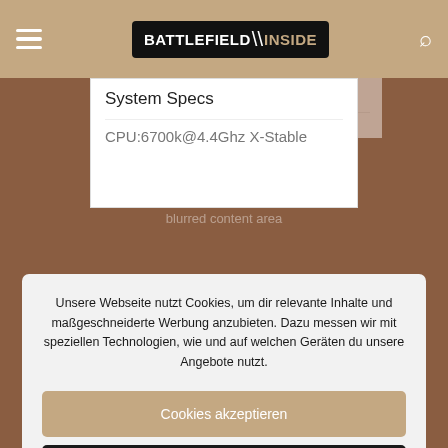[Figure (screenshot): Battlefield Inside website header/navbar with hamburger menu, logo, and search icon on a tan/khaki background]
System Specs
CPU:6700k@4.4Ghz X-Stable
Unsere Webseite nutzt Cookies, um dir relevante Inhalte und maßgeschneiderte Werbung anzubieten. Dazu messen wir mit speziellen Technologien, wie und auf welchen Geräten du unsere Angebote nutzt.
Cookies akzeptieren
Einstellungen
Be the first one to like this